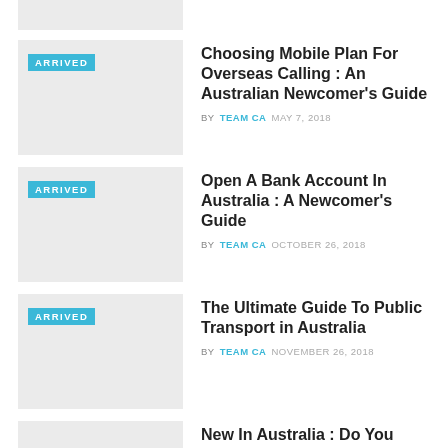[Figure (photo): Partial article card thumbnail at top, cropped]
[Figure (photo): Article thumbnail with ARRIVED badge - Choosing Mobile Plan For Overseas Calling]
Choosing Mobile Plan For Overseas Calling : An Australian Newcomer's Guide
BY TEAM CA  MAY 7, 2018
[Figure (photo): Article thumbnail with ARRIVED badge - Open A Bank Account In Australia]
Open A Bank Account In Australia : A Newcomer's Guide
BY TEAM CA  OCTOBER 26, 2018
[Figure (photo): Article thumbnail with ARRIVED badge - The Ultimate Guide To Public Transport in Australia]
The Ultimate Guide To Public Transport in Australia
BY TEAM CA  NOVEMBER 26, 2018
New In Australia : Do You Know